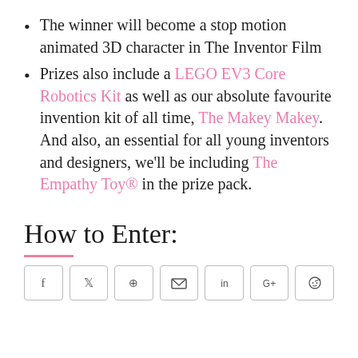The winner will become a stop motion animated 3D character in The Inventor Film
Prizes also include a LEGO EV3 Core Robotics Kit as well as our absolute favourite invention kit of all time, The Makey Makey. And also, an essential for all young inventors and designers, we'll be including The Empathy Toy® in the prize pack.
How to Enter:
[Figure (other): Row of social sharing buttons: Facebook, Twitter, WhatsApp, Email, LinkedIn, Google+, Reddit]